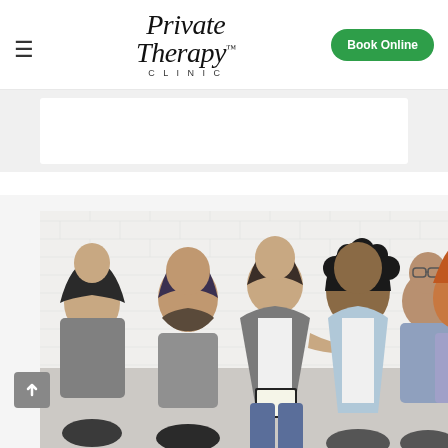[Figure (logo): Private Therapy Clinic logo with hamburger menu icon on the left and Book Online green button on the right]
[Figure (photo): Group therapy session: five people sitting in a circle in conversation, in a bright room with white brick walls. A woman in a gray jacket appears to be speaking or leading the discussion, holding a clipboard.]